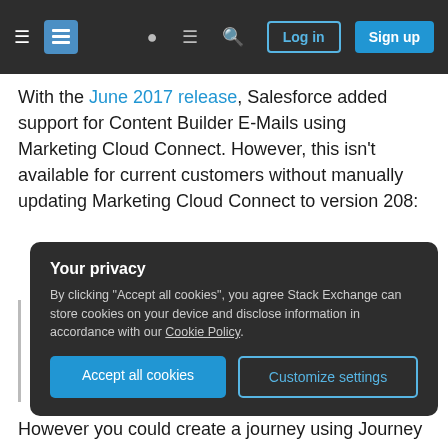Stack Exchange navigation bar with Log in and Sign up buttons
With the June 2017 release, Salesforce added support for Content Builder E-Mails using Marketing Cloud Connect. However, this isn't available for current customers without manually updating Marketing Cloud Connect to version 208:
The new email selection is available to Email Sends and Triggered Sends. This release does not support using Content Builder emails with AB Tests.
Your privacy
By clicking "Accept all cookies", you agree Stack Exchange can store cookies on your device and disclose information in accordance with our Cookie Policy.
Accept all cookies
Customize settings
However you could create a journey using Journey